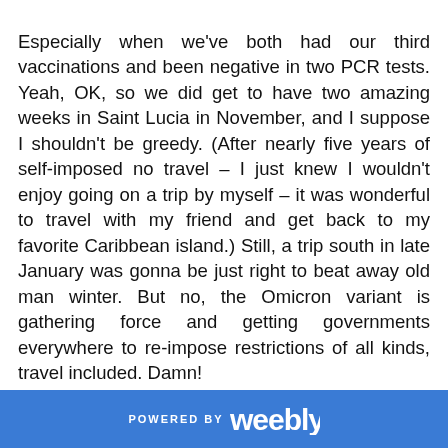Especially when we've both had our third vaccinations and been negative in two PCR tests. Yeah, OK, so we did get to have two amazing weeks in Saint Lucia in November, and I suppose I shouldn't be greedy. (After nearly five years of self-imposed no travel – I just knew I wouldn't enjoy going on a trip by myself – it was wonderful to travel with my friend and get back to my favorite Caribbean island.) Still, a trip south in late January was gonna be just right to beat away old man winter. But no, the Omicron variant is gathering force and getting governments everywhere to re-impose restrictions of all kinds, travel included. Damn!
Alright, the rant is over. I'll be quiet now.
POWERED BY weebly